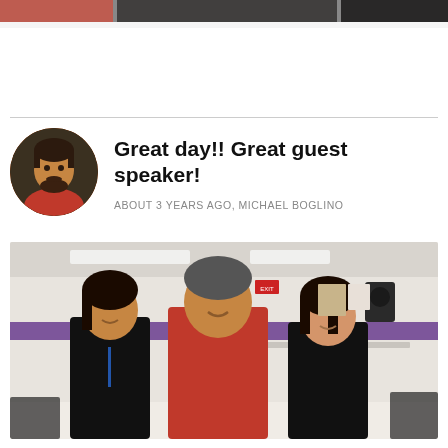[Figure (photo): Top strip showing partial photo of people at a school event]
[Figure (photo): Circular avatar photo of Michael Boglino, a man in a red shirt]
Great day!! Great guest speaker!
ABOUT 3 YEARS AGO, MICHAEL BOGLINO
[Figure (photo): Photo of three people posing in a school cafeteria. A woman in black on the left, a man in a red polo shirt in the center, and a woman in black on the right. Purple accent stripe on the wall behind them.]